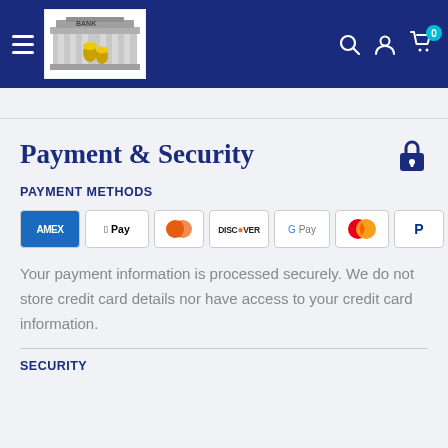Navigation header with hamburger menu, bank logo, search, account, and cart icons
Payment & Security
PAYMENT METHODS
[Figure (other): Payment method logos: Amex, Apple Pay, Diners Club, Discover, Google Pay, Mastercard, PayPal, Shop Pay, Visa]
Your payment information is processed securely. We do not store credit card details nor have access to your credit card information.
SECURITY